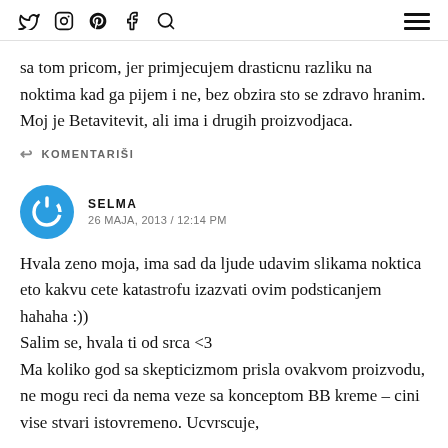Twitter Instagram Pinterest Facebook Search / Menu
sa tom pricom, jer primjecujem drasticnu razliku na noktima kad ga pijem i ne, bez obzira sto se zdravo hranim. Moj je Betavitevit, ali ima i drugih proizvodjaca.
↩ KOMENTARIŠI
SELMA
26 MAJA, 2013 / 12:14 PM
Hvala zeno moja, ima sad da ljude udavim slikama noktica eto kakvu cete katastrofu izazvati ovim podsticanjem hahaha :))
Salim se, hvala ti od srca <3
Ma koliko god sa skepticizmom prisla ovakvom proizvodu, ne mogu reci da nema veze sa konceptom BB kreme – cini vise stvari istovremeno. Ucvrscuje,